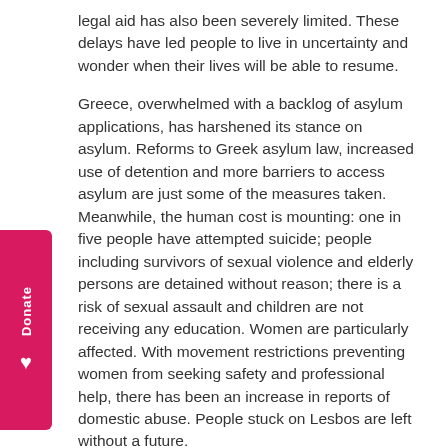legal aid has also been severely limited. These delays have led people to live in uncertainty and wonder when their lives will be able to resume.
Greece, overwhelmed with a backlog of asylum applications, has harshened its stance on asylum. Reforms to Greek asylum law, increased use of detention and more barriers to access asylum are just some of the measures taken. Meanwhile, the human cost is mounting: one in five people have attempted suicide; people including survivors of sexual violence and elderly persons are detained without reason; there is a risk of sexual assault and children are not receiving any education. Women are particularly affected. With movement restrictions preventing women from seeking safety and professional help, there has been an increase in reports of domestic abuse. People stuck on Lesbos are left without a future.
Spyros-Vlad Oikonomou, Advocacy Officer at the Greek Council for Refugees, said:
“Particularly since the EU-Turkey deal was struck, the EU and